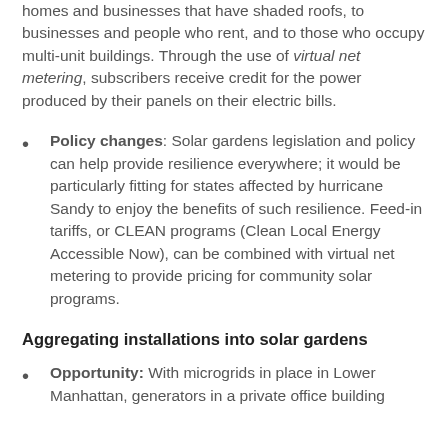homes and businesses that have shaded roofs, to businesses and people who rent, and to those who occupy multi-unit buildings. Through the use of virtual net metering, subscribers receive credit for the power produced by their panels on their electric bills.
Policy changes: Solar gardens legislation and policy can help provide resilience everywhere; it would be particularly fitting for states affected by hurricane Sandy to enjoy the benefits of such resilience. Feed-in tariffs, or CLEAN programs (Clean Local Energy Accessible Now), can be combined with virtual net metering to provide pricing for community solar programs.
Aggregating installations into solar gardens
Opportunity: With microgrids in place in Lower Manhattan, generators in a private office building